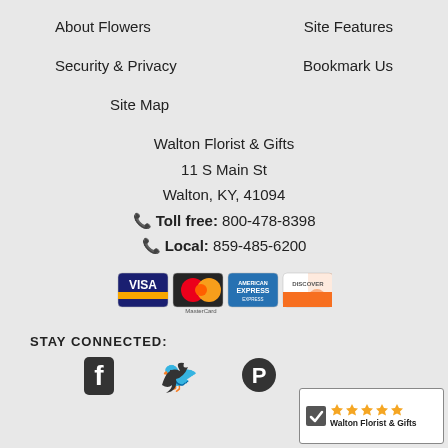About Flowers
Site Features
Security & Privacy
Bookmark Us
Site Map
Walton Florist & Gifts
11 S Main St
Walton, KY, 41094
Toll free: 800-478-8398
Local: 859-485-6200
[Figure (logo): Credit card logos: Visa, MasterCard, American Express, Discover]
STAY CONNECTED:
[Figure (logo): Walton Florist & Gifts rating badge with 5 stars]
[Figure (logo): Social media icons: Facebook, Twitter, Pinterest]